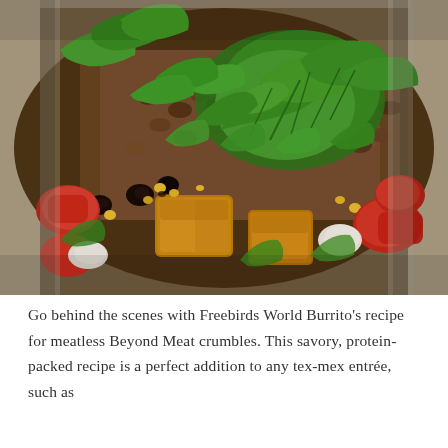[Figure (photo): Close-up photograph of a burrito bowl with Beyond Meat crumbles, fresh cilantro/parsley herbs, black beans, corn, diced red tomatoes, white onion, golden fried tofu or potato pieces, in a silver bowl]
Go behind the scenes with Freebirds World Burrito's recipe for meatless Beyond Meat crumbles. This savory, protein-packed recipe is a perfect addition to any tex-mex entrée, such as